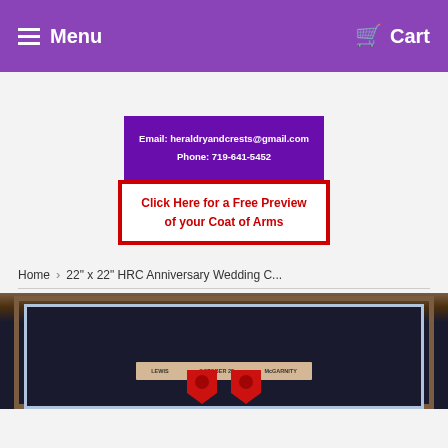Menu  Cart
[Figure (infographic): Purple banner with email heraldryandcrests@gmail.com and Phone: 719-641-5452]
[Figure (infographic): Red-bordered white button: Click Here for a Free Preview of your Coat of Arms]
Home › 22" x 22" HRC Anniversary Wedding C...
[Figure (photo): Framed heraldry coat of arms with two shields showing red figures, scroll banner with LEWIS, OCTOBER 23, McGARNITY]